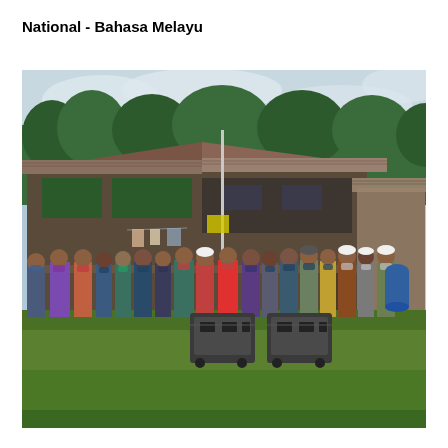National - Bahasa Melayu
[Figure (photo): Group photo of approximately 30 people wearing face masks standing in a line outdoors in front of a traditional wooden stilt house with a corrugated metal roof. The setting appears to be a rural Malaysian village. Two portable generators are placed on the grass in front of the group. Trees are visible in the background. People are wearing a variety of colorful casual clothing.]